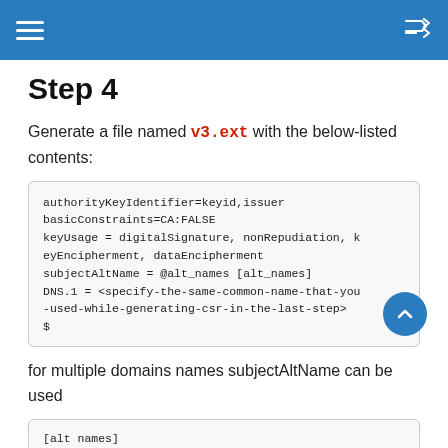Step 4
Step 4
Generate a file named v3.ext with the below-listed contents:
[Figure (screenshot): Code block showing v3.ext file contents: authorityKeyIdentifier=keyid,issuer; basicConstraints=CA:FALSE; keyUsage = digitalSignature, nonRepudiation, keyEncipherment, dataEncipherment; subjectAltName = @alt_names [alt_names]; DNS.1 = <specify-the-same-common-name-that-you-used-while-generating-csr-in-the-last-step>; $]
for multiple domains names subjectAltName can be used
[Figure (screenshot): Code block showing [alt names] heading]